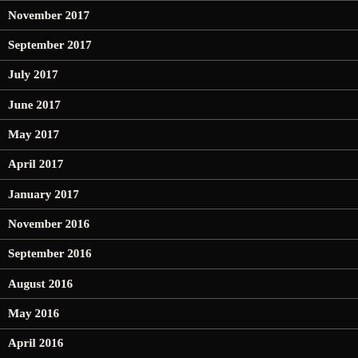November 2017
September 2017
July 2017
June 2017
May 2017
April 2017
January 2017
November 2016
September 2016
August 2016
May 2016
April 2016